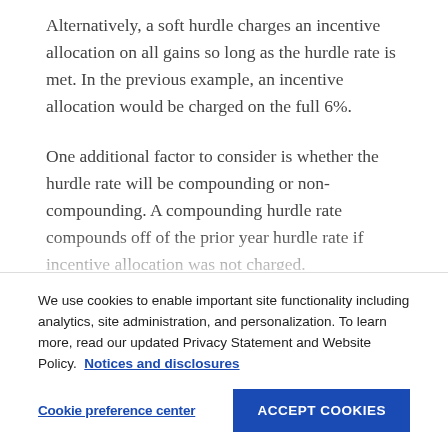Alternatively, a soft hurdle charges an incentive allocation on all gains so long as the hurdle rate is met. In the previous example, an incentive allocation would be charged on the full 6%.
One additional factor to consider is whether the hurdle rate will be compounding or non-compounding. A compounding hurdle rate compounds off of the prior year hurdle rate if incentive allocation was not charged.
We use cookies to enable important site functionality including analytics, site administration, and personalization. To learn more, read our updated Privacy Statement and Website Policy. Notices and disclosures